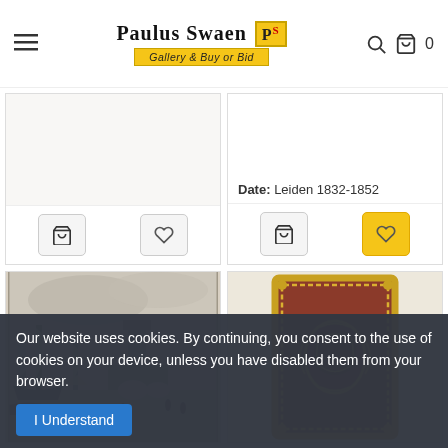[Figure (logo): Paulus Swaen Gallery Buy or Bid logo with yellow banner]
Date: Leiden 1832-1852
[Figure (photo): Harbor scene with sailing ships, boats, bridge and figures - engraving/print]
[Figure (photo): Red leather book cover with gold ornate border and decorative emblem]
Our website uses cookies. By continuing, you consent to the use of cookies on your device, unless you have disabled them from your browser.
I Understand